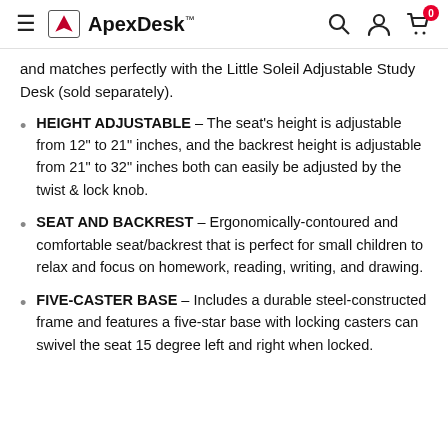ApexDesk™
and matches perfectly with the Little Soleil Adjustable Study Desk (sold separately).
HEIGHT ADJUSTABLE – The seat's height is adjustable from 12" to 21" inches, and the backrest height is adjustable from 21" to 32" inches both can easily be adjusted by the twist & lock knob.
SEAT AND BACKREST – Ergonomically-contoured and comfortable seat/backrest that is perfect for small children to relax and focus on homework, reading, writing, and drawing.
FIVE-CASTER BASE – Includes a durable steel-constructed frame and features a five-star base with locking casters can swivel the seat 15 degree left and right when locked.